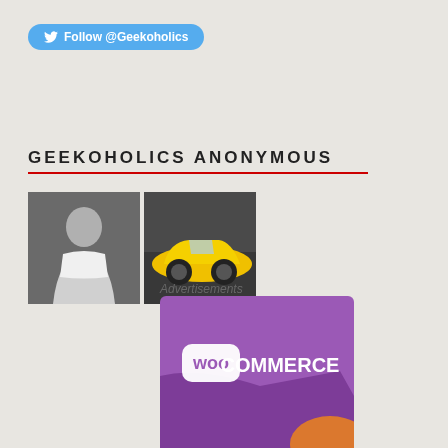[Figure (screenshot): Twitter Follow @Geekoholics button — blue rounded pill shape with Twitter bird icon]
GEEKOHOLICS ANONYMOUS
[Figure (photo): Two thumbnail photos: left shows a man in white t-shirt in black and white, right shows a yellow sports car]
Advertisements
[Figure (logo): WooCommerce logo on purple background with folded card design and orange element at bottom]